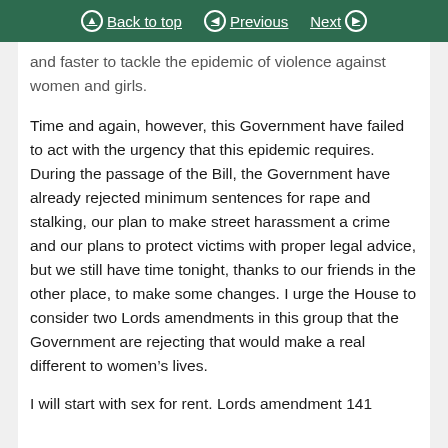Back to top | Previous | Next
and faster to tackle the epidemic of violence against women and girls.
Time and again, however, this Government have failed to act with the urgency that this epidemic requires. During the passage of the Bill, the Government have already rejected minimum sentences for rape and stalking, our plan to make street harassment a crime and our plans to protect victims with proper legal advice, but we still have time tonight, thanks to our friends in the other place, to make some changes. I urge the House to consider two Lords amendments in this group that the Government are rejecting that would make a real different to women’s lives.
I will start with sex for rent. Lords amendment 141